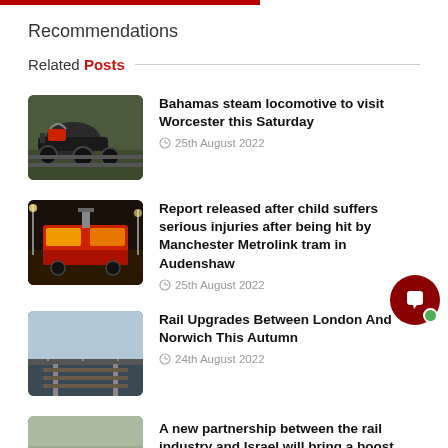Recommendations
Related Posts
[Figure (photo): Steam locomotive (Bahamas) on a track]
Bahamas steam locomotive to visit Worcester this Saturday
25th August 2022
[Figure (photo): Manchester Metrolink tram at night on a city street]
Report released after child suffers serious injuries after being hit by Manchester Metrolink tram in Audenshaw
25th August 2022
[Figure (photo): Railway infrastructure with overhead lines between London and Norwich]
Rail Upgrades Between London And Norwich This Autumn
24th August 2022
[Figure (photo): Railway tracks]
A new partnership between the rail industry and Israel will bring a boost